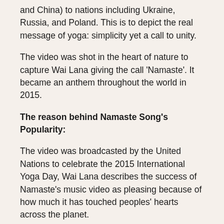and China) to nations including Ukraine, Russia, and Poland. This is to depict the real message of yoga: simplicity yet a call to unity.
The video was shot in the heart of nature to capture Wai Lana giving the call 'Namaste'. It became an anthem throughout the world in 2015.
The reason behind Namaste Song's Popularity:
The video was broadcasted by the United Nations to celebrate the 2015 International Yoga Day, Wai Lana describes the success of Namaste's music video as pleasing because of how much it has touched peoples' hearts across the planet.
Moving on, yoga fanatics and peace lovers in multiple regions have watched the video by more than 4 million fans. This worldwide success truly depicts the energy and message it communicates to the global community—and the world at large as the message transpires in every